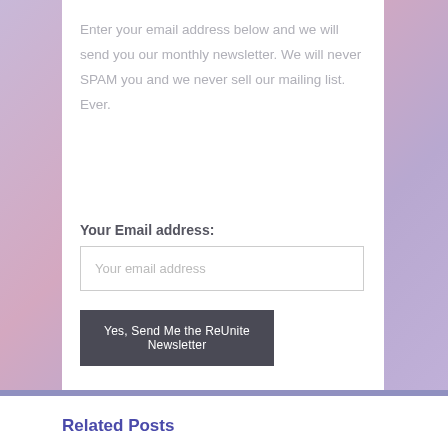Enter your email address below and we will send you our monthly newsletter. We will never SPAM you and we never sell our mailing list. Ever.
Your Email address:
Your email address
Yes, Send Me the ReUnite Newsletter
Related Posts